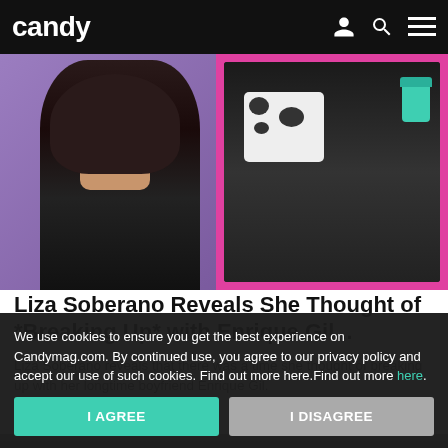candy
[Figure (photo): Composite hero image: left side shows a woman with short dark hair wearing a black off-shoulder top against a purple background; right side shows another photo of a person in a cow-print outfit holding a teal cup against a pink background.]
Liza Soberano Reveals She Thought of *Breaking Up* with Enrique Gil...
Liza Soberano reveals that there was a time she thought of breaking up with her longtime boyfriend Enrique Gil.
Candy Mag
Read on App
We use cookies to ensure you get the best experience on Candymag.com. By continued use, you agree to our privacy policy and accept our use of such cookies. Find out more here.Find out more here.
I AGREE
I DISAGREE